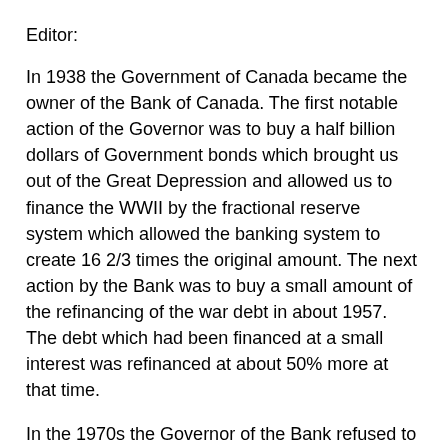Editor:
In 1938 the Government of Canada became the owner of the Bank of Canada. The first notable action of the Governor was to buy a half billion dollars of Government bonds which brought us out of the Great Depression and allowed us to finance the WWII by the fractional reserve system which allowed the banking system to create 16 2/3 times the original amount. The next action by the Bank was to buy a small amount of the refinancing of the war debt in about 1957. The debt which had been financed at a small interest was refinanced at about 50% more at that time.
In the 1970s the Governor of the Bank refused to believe that the Bank had bought a half billion of bonds and proceeded to abolish the Reserve system. The National Debt went up more than ten times in ten years leading to the problems in 2008. In 1973 a budget had been proposed by John Hotson, a professor of Economics at Waterloo University suggested that the Government should finance the budget by borrowing the money from the Bank of Canada at a fraction of a percent. Instead, they were actually paying 20.8 percent on short term loans. He pointed out that the